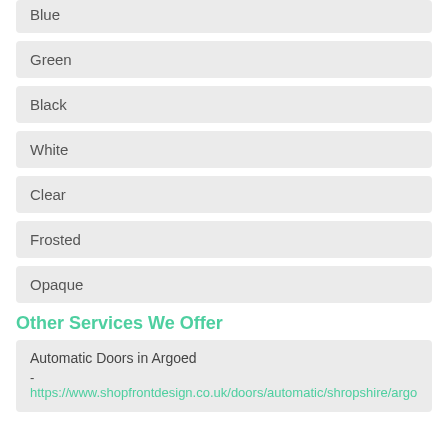Blue
Green
Black
White
Clear
Frosted
Opaque
Other Services We Offer
Automatic Doors in Argoed
- https://www.shopfrontdesign.co.uk/doors/automatic/shropshire/argo